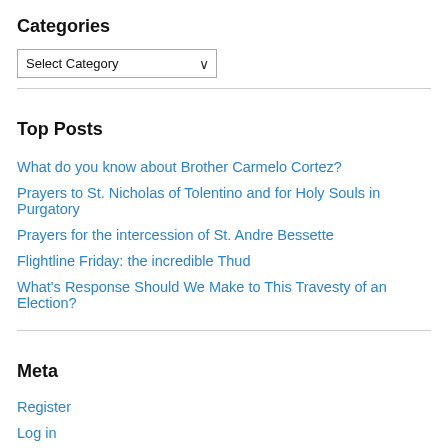Categories
Select Category (dropdown)
Top Posts
What do you know about Brother Carmelo Cortez?
Prayers to St. Nicholas of Tolentino and for Holy Souls in Purgatory
Prayers for the intercession of St. Andre Bessette
Flightline Friday: the incredible Thud
What's Response Should We Make to This Travesty of an Election?
Meta
Register
Log in
Entries feed
Comments feed
WordPress.com